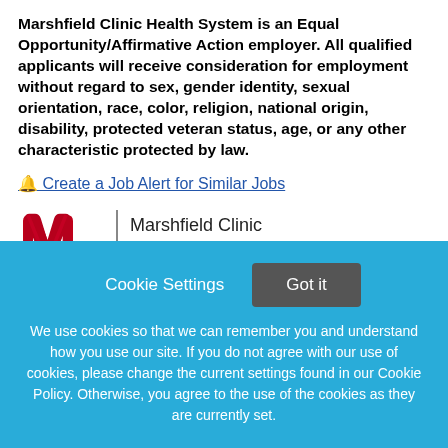Marshfield Clinic Health System is an Equal Opportunity/Affirmative Action employer. All qualified applicants will receive consideration for employment without regard to sex, gender identity, sexual orientation, race, color, religion, national origin, disability, protected veteran status, age, or any other characteristic protected by law.
🔔 Create a Job Alert for Similar Jobs
[Figure (logo): Marshfield Clinic Health System logo with red stylized M mark and text]
About Marshfield Clinic Health System
Marshfield Clinic Health System physicians and staff are...
Cookie Settings   Got it
We use cookies so that we can remember you and understand how you use our site. If you do not agree with our use of cookies, please change the current settings found in our Cookie Policy. Otherwise, you agree to the use of the cookies as they are currently set.